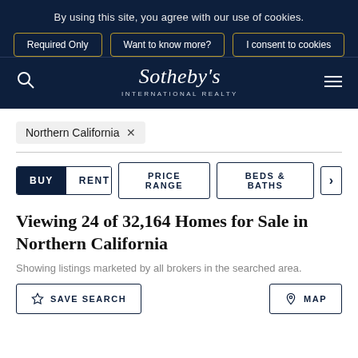By using this site, you agree with our use of cookies.
Required Only
Want to know more?
I consent to cookies
[Figure (logo): Sotheby's International Realty logo in white on dark navy background]
Northern California ×
BUY
RENT
PRICE RANGE
BEDS & BATHS
Viewing 24 of 32,164 Homes for Sale in Northern California
Showing listings marketed by all brokers in the searched area.
SAVE SEARCH
MAP